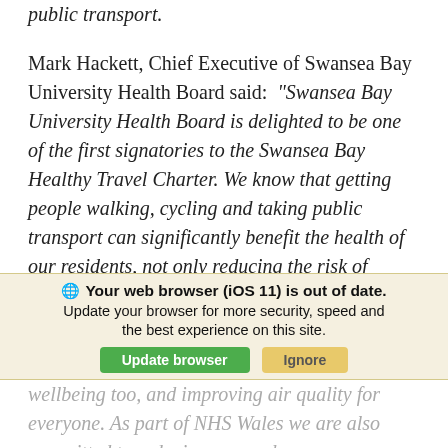public transport.
Mark Hackett, Chief Executive of Swansea Bay University Health Board said: “Swansea Bay University Health Board is delighted to be one of the first signatories to the Swansea Bay Healthy Travel Charter. We know that getting people walking, cycling and taking public transport can significantly benefit the health of our residents, not only reducing the risk of cardiovascular disease and diabetes, but improving mental wellbeing too, and improving air quality for everyone. As part of NHS Wales we are also committed to reducing our carbon
Your web browser (iOS 11) is out of date. Update your browser for more security, speed and the best experience on this site.